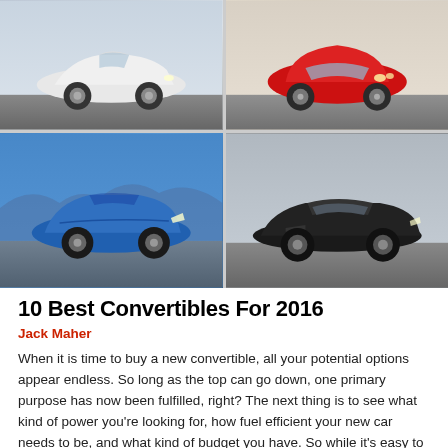[Figure (photo): 2x2 grid of four convertible car photos: top-left white Mazda MX-5, top-right red VW Beetle convertible, bottom-left blue Audi TT roadster, bottom-right black Chevrolet Corvette]
10 Best Convertibles For 2016
Jack Maher
When it is time to buy a new convertible, all your potential options appear endless. So long as the top can go down, one primary purpose has now been fulfilled, right? The next thing is to see what kind of power you're looking for, how fuel efficient your new car needs to be, and what kind of budget you have. So while it's easy to figure out if the top goes down, it's harder to research everything else. So we've done just that for you. Take...